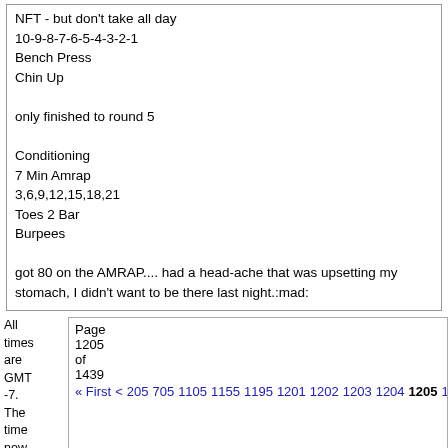NFT - but don't take all day
10-9-8-7-6-5-4-3-2-1
Bench Press
Chin Up

only finished to round 5

Conditioning
7 Min Amrap
3,6,9,12,15,18,21
Toes 2 Bar
Burpees

got 80 on the AMRAP.... had a head-ache that was upsetting my stomach, I didn't want to be there last night.:mad:
All times are GMT -7. The time now is 06:42 AM.
Page 1205 of 1439
« First  <  205  705  1105  1155  1195  1201  1202  1203  1204  1205  120…
CrossFit is a registered trademark of CrossFit Inc.